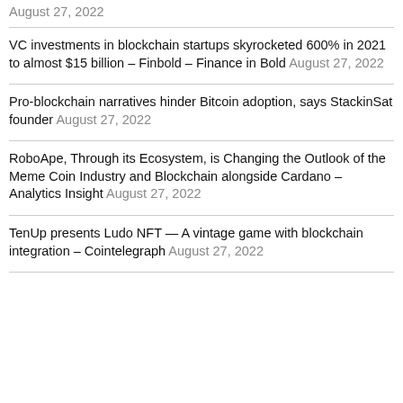August 27, 2022
VC investments in blockchain startups skyrocketed 600% in 2021 to almost $15 billion – Finbold – Finance in Bold August 27, 2022
Pro-blockchain narratives hinder Bitcoin adoption, says StackinSat founder August 27, 2022
RoboApe, Through its Ecosystem, is Changing the Outlook of the Meme Coin Industry and Blockchain alongside Cardano – Analytics Insight August 27, 2022
TenUp presents Ludo NFT — A vintage game with blockchain integration – Cointelegraph August 27, 2022